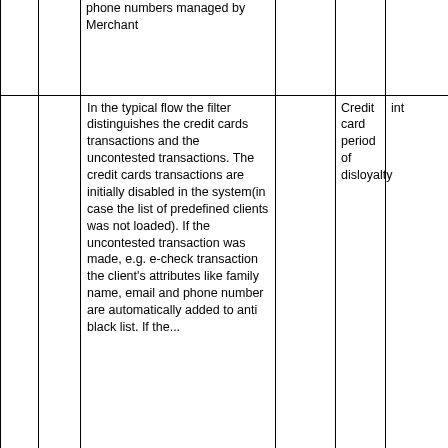|  |  | phone numbers managed by Merchant |  |  |  |
|  |  | In the typical flow the filter distinguishes the credit cards transactions and the uncontested transactions. The credit cards transactions are initially disabled in the system(in case the list of predefined clients was not loaded). If the uncontested transaction was made, e.g. e-check transaction the client's attributes like family name, email and phone number are automatically added to anti black list. If the... |  | Credit card period of disloyalty | int |  |